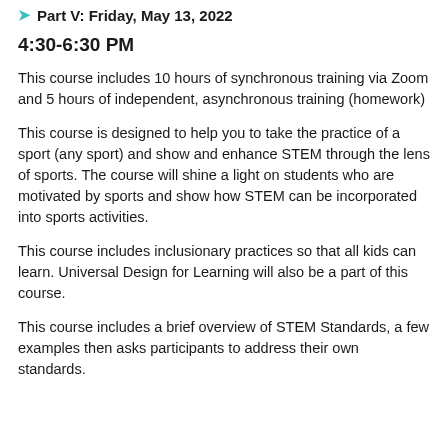Part V: Friday, May 13, 2022
4:30-6:30 PM
This course includes 10 hours of synchronous training via Zoom and 5 hours of independent, asynchronous training (homework)
This course is designed to help you to take the practice of a sport (any sport) and show and enhance STEM through the lens of sports. The course will shine a light on students who are motivated by sports and show how STEM can be incorporated into sports activities.
This course includes inclusionary practices so that all kids can learn. Universal Design for Learning will also be a part of this course.
This course includes a brief overview of STEM Standards, a few examples then asks participants to address their own standards.